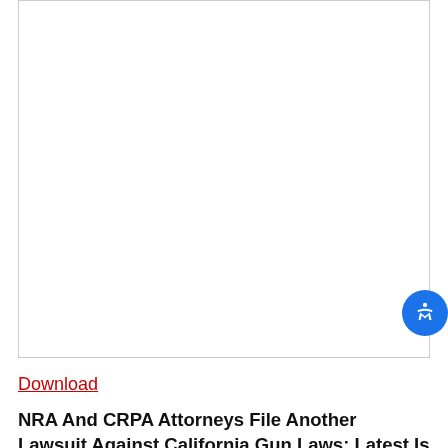[Figure (other): A large empty white box with a thin gray border, representing an embedded document viewer or PDF preview area]
Download
NRA And CRPA Attorneys File Another Lawsuit Against California Gun Laws: Latest Is A Challenge To Recently Enacted "Assault Weapon" Regulations